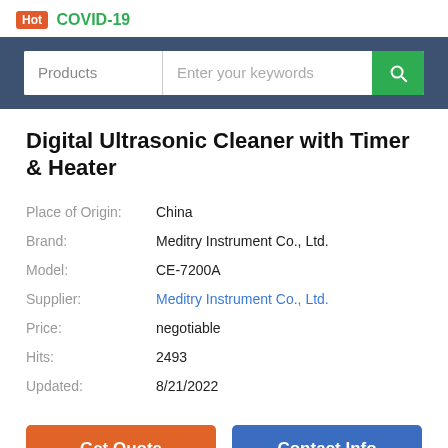Hot COVID-19
[Figure (screenshot): Search bar with Products dropdown, keyword input field, and green search button]
Digital Ultrasonic Cleaner with Timer & Heater
| Place of Origin: | China |
| Brand: | Meditry Instrument Co., Ltd. |
| Model: | CE-7200A |
| Supplier: | Meditry Instrument Co., Ltd. |
| Price: | negotiable |
| Hits: | 2493 |
| Updated: | 8/21/2022 |
Get Quote
Contact Info